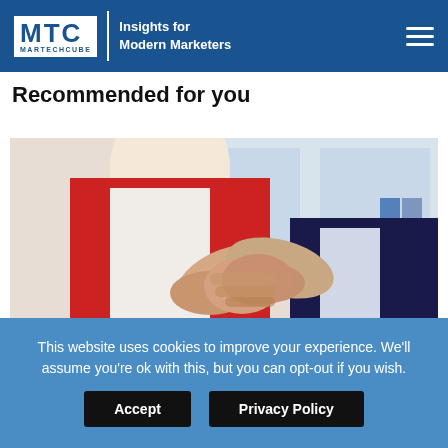MTC MARTECHCUBE | Insights for Modern Marketers
Recommended for you
[Figure (photo): Two people shaking hands in an office setting. A woman in a red cardigan and white blouse on the left, and a man in a dark navy suit jacket on the right, with blue binders visible in the background.]
This website uses cookies to improve your experience. We'll assume you're ok with this, but you can opt-out if you wish.